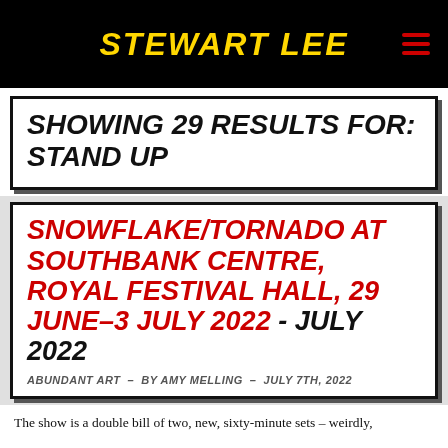STEWART LEE
SHOWING 29 RESULTS FOR: STAND UP
SNOWFLAKE/TORNADO AT SOUTHBANK CENTRE, ROYAL FESTIVAL HALL, 29 JUNE–3 JULY 2022 - JULY 2022
ABUNDANT ART - BY AMY MELLING - JULY 7TH, 2022
The show is a double bill of two, new, sixty-minute sets – weirdly,